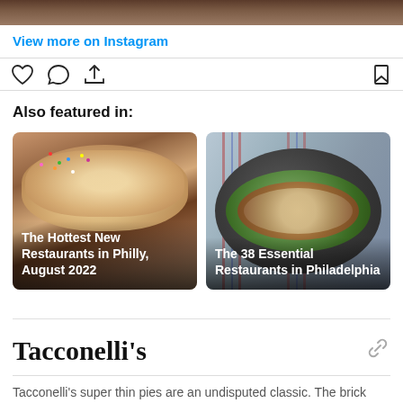[Figure (photo): Top portion of a food/restaurant Instagram post image, cropped at the top of the page]
View more on Instagram
[Figure (screenshot): Instagram action bar with heart, comment, share, and bookmark icons]
Also featured in:
[Figure (photo): Image card for 'The Hottest New Restaurants in Philly, August 2022' showing a cookie ice cream sandwich with colorful sprinkles]
[Figure (photo): Image card for 'The 38 Essential Restaurants in Philadelphia' showing a tostada on a dark plate]
Tacconelli's
Tacconelli's super thin pies are an undisputed classic. The brick oven,